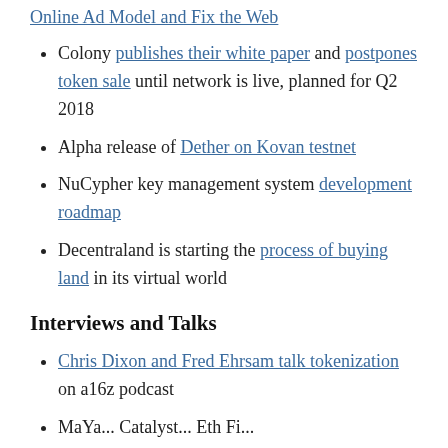Online Ad Model and Fix the Web
Colony publishes their white paper and postpones token sale until network is live, planned for Q2 2018
Alpha release of Dether on Kovan testnet
NuCypher key management system development roadmap
Decentraland is starting the process of buying land in its virtual world
Interviews and Talks
Chris Dixon and Fred Ehrsam talk tokenization on a16z podcast
MaYa...Catalyst...Eth Fi...